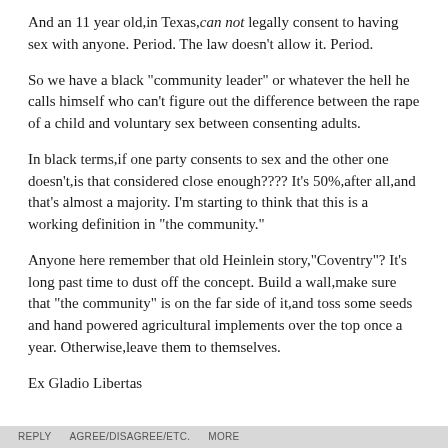And an 11 year old,in Texas,can not legally consent to having sex with anyone. Period. The law doesn't allow it. Period.
So we have a black "community leader" or whatever the hell he calls himself who can't figure out the difference between the rape of a child and voluntary sex between consenting adults.
In black terms,if one party consents to sex and the other one doesn't,is that considered close enough???? It's 50%,after all,and that's almost a majority. I'm starting to think that this is a working definition in "the community."
Anyone here remember that old Heinlein story,"Coventry"? It's long past time to dust off the concept. Build a wall,make sure that "the community" is on the far side of it,and toss some seeds and hand powered agricultural implements over the top once a year. Otherwise,leave them to themselves.
Ex Gladio Libertas
REPLY   AGREE/DISAGREE/ETC.   MORE